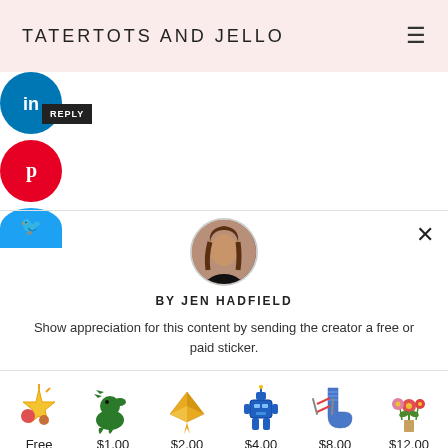TATERTOTS AND JELLO
[Figure (infographic): Social share buttons: LinkedIn (blue circle), Pinterest (red circle with P icon), Twitter (blue circle partially visible). A black 'REPLY' badge overlaps the LinkedIn button.]
[Figure (photo): Circular avatar photo of Jen Hadfield, a woman with long brown hair wearing a black top.]
BY JEN HADFIELD
Show appreciation for this content by sending the creator a free or paid sticker.
[Figure (infographic): Row of 6 sticker options with prices: Free (star/fireworks sticker), $1.00 (green dinosaur), $2.00 (gold origami crane), $4.00 (blue robot), $8.00 (blue knitted sock with needles), $12.00 (flower bouquet).]